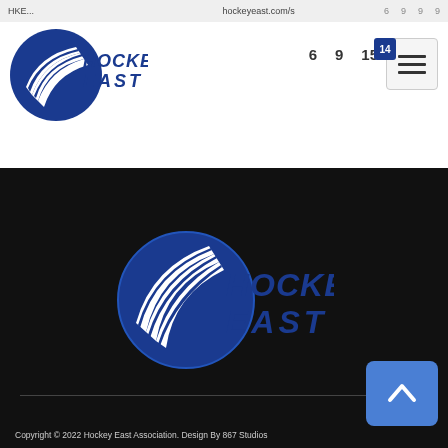[Figure (logo): Hockey East logo in top navigation bar - blue circle with hockey sticks and HOCKEY EAST text]
6  9  15  14
[Figure (logo): Hockey East logo large on dark background - blue circle with white hockey sticks and HOCKEY EAST text in blue]
Copyright © 2022 Hockey East Association. Design By 867 Studios